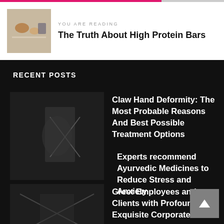YOU ARE READING
The Truth About High Protein Bars
RECENT POSTS
Claw Hand Deformity: The Most Probable Reasons And Best Possible Treatment Options
Greet Employees and Clients with Profound and Exquisite Corporate Gifts
Experts recommend Ayurvedic Medicines to Reduce Stress and Anxiety